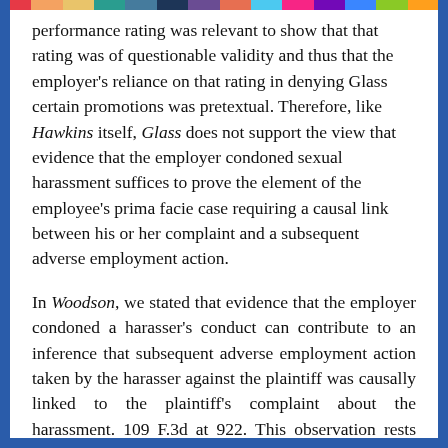performance rating was relevant to show that that rating was of questionable validity and thus that the employer's reliance on that rating in denying Glass certain promotions was pretextual. Therefore, like Hawkins itself, Glass does not support the view that evidence that the employer condoned sexual harassment suffices to prove the element of the employee's prima facie case requiring a causal link between his or her complaint and a subsequent adverse employment action.
In Woodson, we stated that evidence that the employer condoned a harasser's conduct can contribute to an inference that subsequent adverse employment action taken by the harasser against the plaintiff was causally linked to the plaintiff's complaint about the harassment. 109 F.3d at 922. This observation rests upon the recognition that, if the harasser got away with the harassment, it is more likely that he or she will